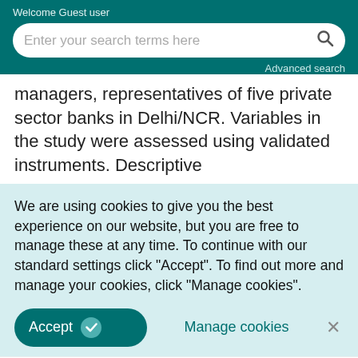Welcome Guest user
[Figure (screenshot): Search bar with placeholder text 'Enter your search terms here' and a search icon, with 'Advanced search' link below, on teal background]
managers, representatives of five private sector banks in Delhi/NCR. Variables in the study were assessed using validated instruments. Descriptive
We are using cookies to give you the best experience on our website, but you are free to manage these at any time. To continue with our standard settings click "Accept". To find out more and manage your cookies, click "Manage cookies".
Accept   Manage cookies   ×
mentoring and managerial effectiveness.